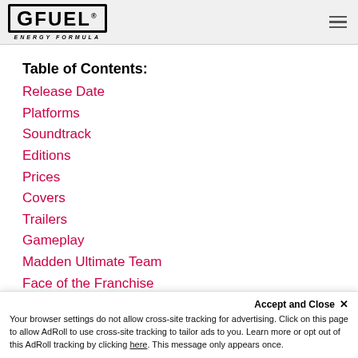GFUEL ENERGY FORMULA
Table of Contents:
Release Date
Platforms
Soundtrack
Editions
Prices
Covers
Trailers
Gameplay
Madden Ultimate Team
Face of the Franchise
X-Factor
Top 10 Player Ratings
Accept and Close ✕
Your browser settings do not allow cross-site tracking for advertising. Click on this page to allow AdRoll to use cross-site tracking to tailor ads to you. Learn more or opt out of this AdRoll tracking by clicking here. This message only appears once.